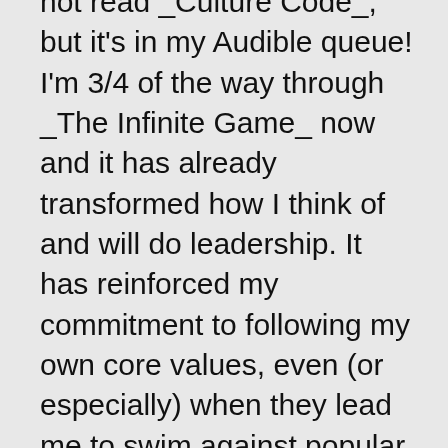not read _Culture Code_, but it's in my Audible queue! I'm 3/4 of the way through _The Infinite Game_ now and it has already transformed how I think of and will do leadership. It has reinforced my commitment to following my own core values, even (or especially) when they lead me to swim against popular current. The distinction between finite and infinite games reminds me very much of that between technical problems and adaptive challenges, defined by Ronald Heifetz: http://changetheorists.pbworks.com/w/page/15475038/Ron%20Heifetz These ideas are abstract; they may be simple to understand, and devilishly difficult to apply/implement/practical. In my mind